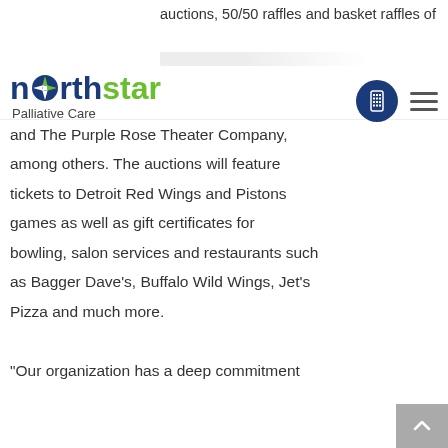auctions, 50/50 raffles and basket raffles of
[Figure (logo): Northstar Palliative Care logo with compass star icon, blue and green colors]
and The Purple Rose Theater Company, among others. The auctions will feature tickets to Detroit Red Wings and Pistons games as well as gift certificates for bowling, salon services and restaurants such as Bagger Dave's, Buffalo Wild Wings, Jet's Pizza and much more.
“Our organization has a deep commitment